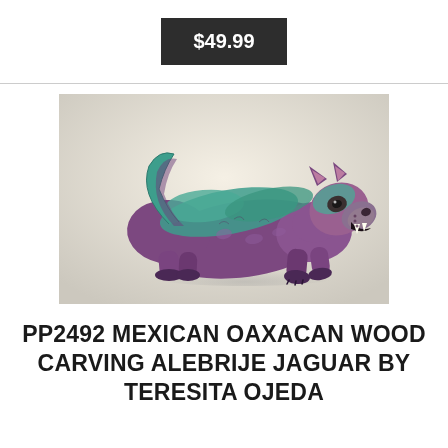$49.99
[Figure (photo): Wooden alebrije jaguar sculpture painted in purple and teal/green colors, crouching with open mouth, handcrafted Mexican Oaxacan style carving]
PP2492 MEXICAN OAXACAN WOOD CARVING ALEBRIJE JAGUAR BY TERESITA OJEDA